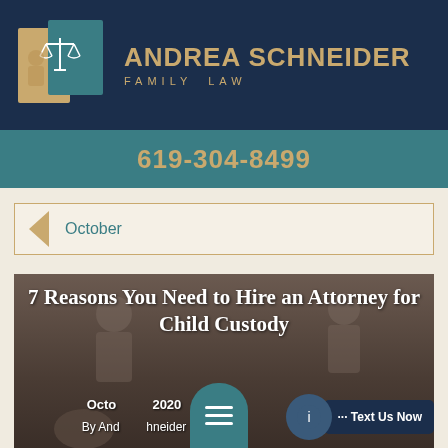[Figure (logo): Andrea Schneider Family Law logo with scales of justice icon on navy background with gold and teal colors]
619-304-8499
October
[Figure (photo): Blurred background photo of family dispute scene with overlay text: 7 Reasons You Need to Hire an Attorney for Child Custody, October 2020, By Andrea Schneider]